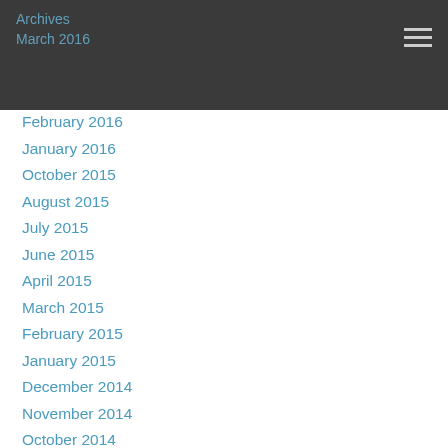Archives
March 2016
February 2016
January 2016
October 2015
August 2015
July 2015
June 2015
April 2015
March 2015
February 2015
January 2015
December 2014
November 2014
October 2014
September 2014
August 2014
RSS Feed